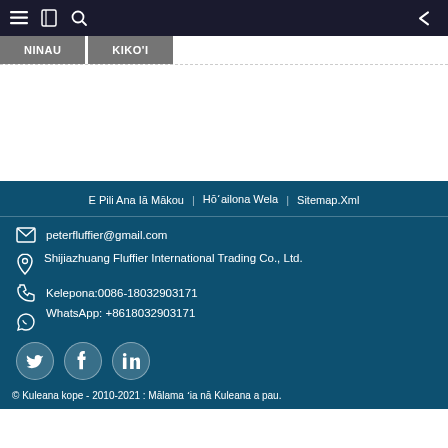NINAU | KIKO'I
E Pili Ana Iā Mākou | Hōʻailona Wela | Sitemap.Xml
peterfluffier@gmail.com
Shijiazhuang Fluffier International Trading Co., Ltd.
Kelepona:0086-18032903171
WhatsApp: +8618032903171
© Kuleana kope - 2010-2021 : Mālama ʻia nā Kuleana a pau.